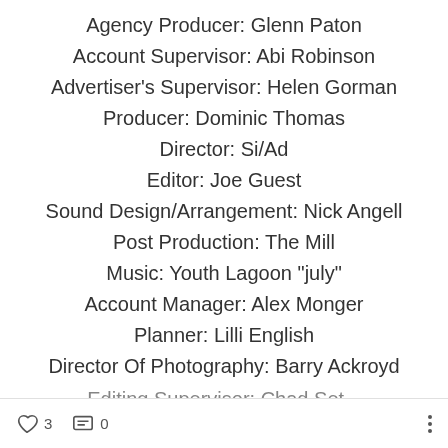Agency Producer: Glenn Paton
Account Supervisor: Abi Robinson
Advertiser's Supervisor: Helen Gorman
Producer: Dominic Thomas
Director: Si/Ad
Editor: Joe Guest
Sound Design/Arrangement: Nick Angell
Post Production: The Mill
Music: Youth Lagoon "july"
Account Manager: Alex Monger
Planner: Lilli English
Director Of Photography: Barry Ackroyd
3 likes, 0 comments